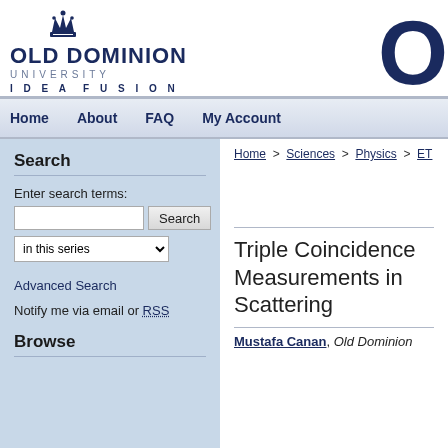[Figure (logo): Old Dominion University logo with crown icon, name and IDEA FUSION tagline]
Home  About  FAQ  My Account
Search
Enter search terms:
in this series
Advanced Search
Notify me via email or RSS
Browse
Home > Sciences > Physics > ET
Triple Coincidence Measurements in Scattering
Mustafa Canan, Old Dominion